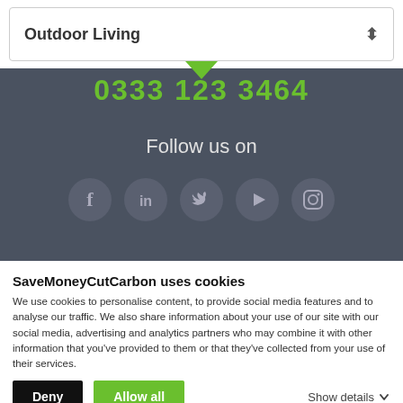Outdoor Living
0333 123 3464
Follow us on
[Figure (illustration): Social media icons: Facebook, LinkedIn, Twitter, YouTube, Instagram — circular grey icons on dark background]
SaveMoneyCutCarbon uses cookies
We use cookies to personalise content, to provide social media features and to analyse our traffic. We also share information about your use of our site with our social media, advertising and analytics partners who may combine it with other information that you've provided to them or that they've collected from your use of their services.
Deny | Allow all | Show details